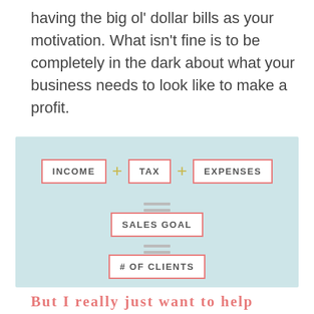having the big ol' dollar bills as your motivation. What isn't fine is to be completely in the dark about what your business needs to look like to make a profit.
[Figure (infographic): Formula diagram on light blue background showing: INCOME + TAX + EXPENSES = (equals sign) = SALES GOAL = (equals sign) = # OF CLIENTS, with boxes outlined in coral/salmon and plus signs in gold/yellow]
But I really just want to help